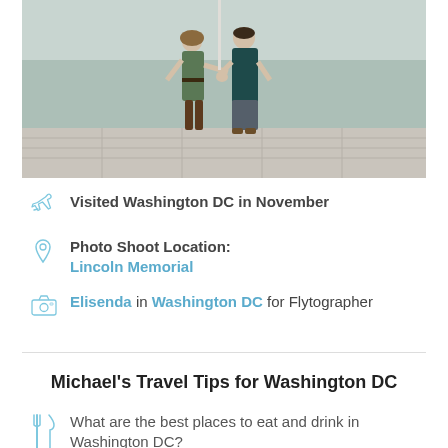[Figure (photo): A couple holding hands standing in front of a reflecting pool, the woman wearing a green dress and brown boots, the man in a dark teal sweater and grey pants.]
Visited Washington DC in November
Photo Shoot Location: Lincoln Memorial
Elisenda in Washington DC for Flytographer
Michael's Travel Tips for Washington DC
What are the best places to eat and drink in Washington DC?